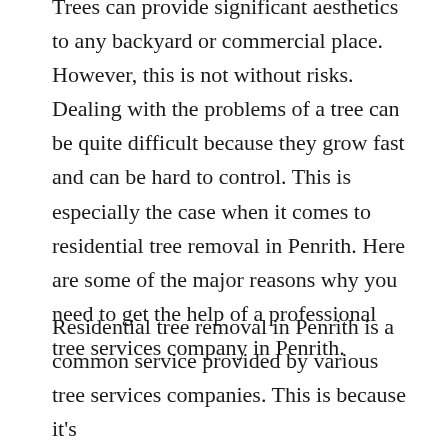Trees can provide significant aesthetics to any backyard or commercial place. However, this is not without risks. Dealing with the problems of a tree can be quite difficult because they grow fast and can be hard to control. This is especially the case when it comes to residential tree removal in Penrith. Here are some of the major reasons why you need to get the help of a professional tree services company in Penrith.
Residential tree removal in Penrith is a common service provided by various tree services companies. This is because it's